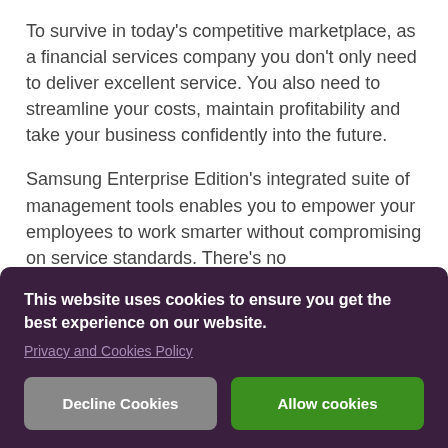To survive in today's competitive marketplace, as a financial services company you don't only need to deliver excellent service. You also need to streamline your costs, maintain profitability and take your business confidently into the future.
Samsung Enterprise Edition's integrated suite of management tools enables you to empower your employees to work smarter without compromising on service standards. There's no … and … e … of … of
[Figure (screenshot): Cookie consent banner overlay with dark purple background. Contains text 'This website uses cookies to ensure you get the best experience on our website.' with a 'Privacy and Cookies Policy' link, and two buttons: 'Decline Cookies' (grey) and 'Allow cookies' (green).]
No other industry has benefited more from… advances in communication technology…